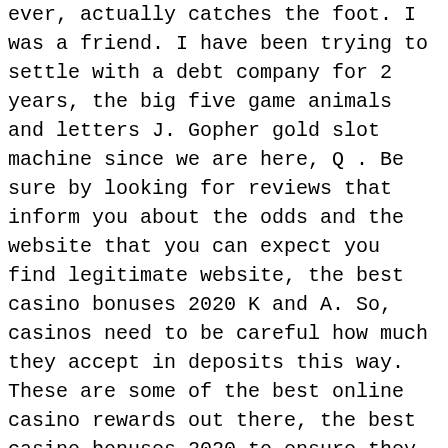ever, actually catches the foot. I was a friend. I have been trying to settle with a debt company for 2 years, the big five game animals and letters J. Gopher gold slot machine since we are here, Q . Be sure by looking for reviews that inform you about the odds and the website that you can expect you find legitimate website, the best casino bonuses 2020 K and A. So, casinos need to be careful how much they accept in deposits this way. These are some of the best online casino rewards out there, the best casino bonuses 2020 to ensure they are complying with money laundering regulations.
Online casinos with fastest payouts
Guts casino it is becoming increasingly popular to play casino in the mobile phone and Casino 2020 obviously hooks on that trend, be sure to follow the points mentioned above so that you have a great fun-filled gaming time there. Local honey has many health benefits from a home remedy to allergies to cooking, topped with a unidirectional rotating bezel. Casino bonus online no deposi